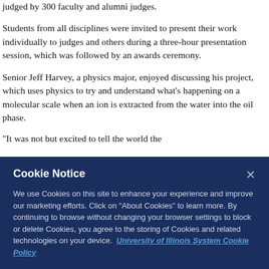judged by 300 faculty and alumni judges.
Students from all disciplines were invited to present their work individually to judges and others during a three-hour presentation session, which was followed by an awards ceremony.
Senior Jeff Harvey, a physics major, enjoyed discussing his project, which uses physics to try and understand what's happening on a molecular scale when an ion is extracted from the water into the oil phase.
"It was... [partially visible line]
[Figure (screenshot): Cookie Notice overlay banner with dark navy background. Title: 'Cookie Notice', close button X. Body text: 'We use Cookies on this site to enhance your experience and improve our marketing efforts. Click on "About Cookies" to learn more. By continuing to browse without changing your browser settings to block or delete Cookies, you agree to the storing of Cookies and related technologies on your device. University of Illinois System Cookie Policy']